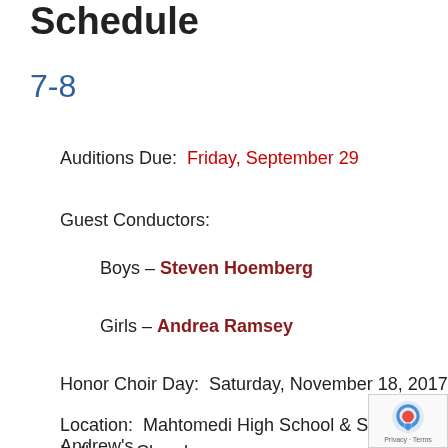Schedule
7-8
Auditions Due:  Friday, September 29
Guest Conductors:
Boys – Steven Hoemberg
Girls – Andrea Ramsey
Honor Choir Day:  Saturday, November 18, 2017
Location:  Mahtomedi High School & St. Andrew's Lutheran Church